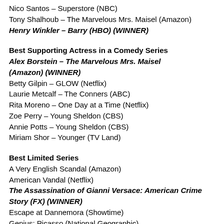Nico Santos – Superstore (NBC)
Tony Shalhoub – The Marvelous Mrs. Maisel (Amazon)
Henry Winkler – Barry (HBO) (WINNER)
Best Supporting Actress in a Comedy Series
Alex Borstein – The Marvelous Mrs. Maisel (Amazon) (WINNER)
Betty Gilpin – GLOW (Netflix)
Laurie Metcalf – The Conners (ABC)
Rita Moreno – One Day at a Time (Netflix)
Zoe Perry – Young Sheldon (CBS)
Annie Potts – Young Sheldon (CBS)
Miriam Shor – Younger (TV Land)
Best Limited Series
A Very English Scandal (Amazon)
American Vandal (Netflix)
The Assassination of Gianni Versace: American Crime Story (FX) (WINNER)
Escape at Dannemora (Showtime)
Genius: Picasso (National Geographic)
Sharp Objects (HBO)